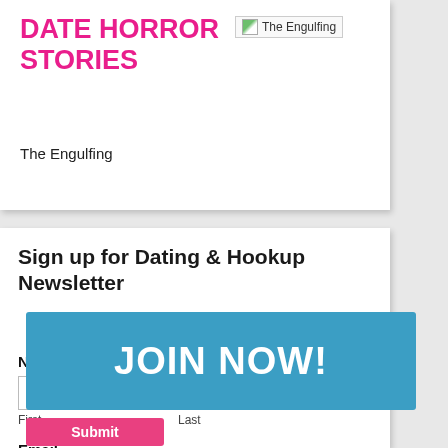DATE HORROR STORIES
[Figure (other): Broken image placeholder labeled 'The Engulfing']
The Engulfing
Sign up for Dating & Hookup Newsletter
Name
First
Last
Email
JOIN NOW!
Submit